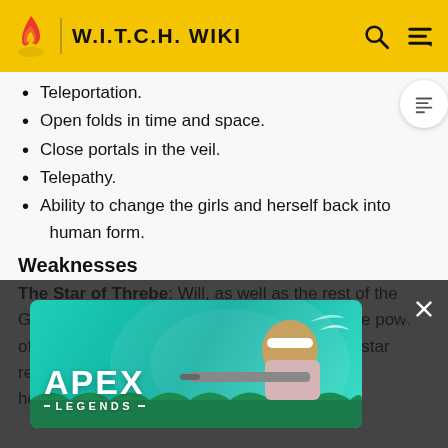W.I.T.C.H. WIKI
Teleportation.
Open folds in time and space.
Close portals in the veil.
Telepathy.
Ability to change the girls and herself back into human form.
Weaknesses
The Star of Threbe: Will, as well as the rest of the Guardians, was rendered powerless due to the power of the Star of Threbe, used to find Elyon. The star renders powerless... turning home.... of Kandra...
[Figure (photo): Apex Legends advertisement banner with game character holding a sniper rifle on a teal background]